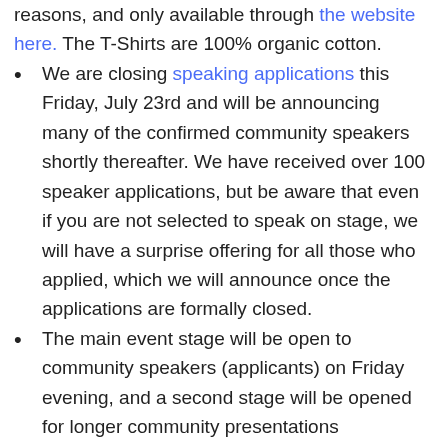reasons, and only available through the website here. The T-Shirts are 100% organic cotton.
We are closing speaking applications this Friday, July 23rd and will be announcing many of the confirmed community speakers shortly thereafter. We have received over 100 speaker applications, but be aware that even if you are not selected to speak on stage, we will have a surprise offering for all those who applied, which we will announce once the applications are formally closed.
The main event stage will be open to community speakers (applicants) on Friday evening, and a second stage will be opened for longer community presentations throughout Saturday as well.